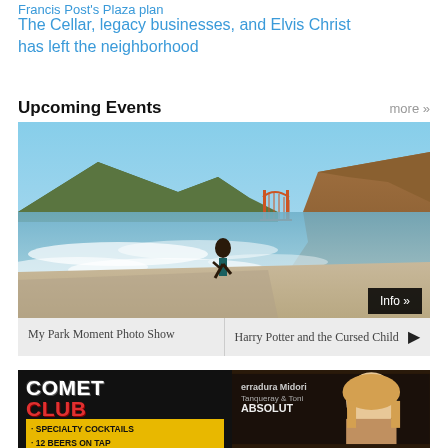Francis Post's Plaza plan
The Cellar, legacy businesses, and Elvis Christ has left the neighborhood
Upcoming Events
more »
[Figure (photo): Child running on a beach with Golden Gate Bridge visible in background, ocean waves, hilly terrain on right side. Button overlay: Info »]
My Park Moment Photo Show
Harry Potter and the Cursed Child ▶
[Figure (photo): Advertisement for Comet Club. Left side: dark background with 'COMET CLUB' text and bullets 'SPECIALTY COCKTAILS' and '12 BEERS ON TAP'. Right side: photo of a woman at a bar with liquor brand signs.]